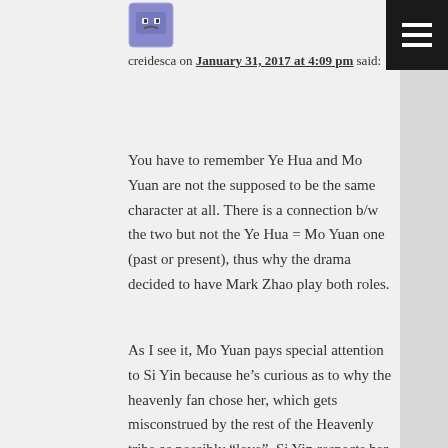[Figure (illustration): Small avatar image of a cartoon purple/blue character with a neutral/sad face]
creidesca on January 31, 2017 at 4:09 pm said:
You have to remember Ye Hua and Mo Yuan are not the supposed to be the same character at all. There is a connection b/w the two but not the Ye Hua = Mo Yuan one (past or present), thus why the drama decided to have Mark Zhao play both roles.
As I see it, Mo Yuan pays special attention to Si Yin because he’s curious as to why the heavenly fan chose her, which gets misconstrued by the rest of the Heavenly tribe as possibly “love”. Si Yin respects her sifu for his “care”–he’s always getting her out of major trouble (I